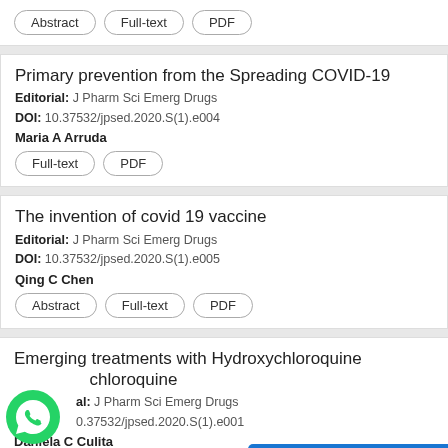Abstract | Full-text | PDF
Primary prevention from the Spreading COVID-19
Editorial: J Pharm Sci Emerg Drugs
DOI: 10.37532/jpsed.2020.S(1).e004
Maria A Arruda
Full-text | PDF
The invention of covid 19 vaccine
Editorial: J Pharm Sci Emerg Drugs
DOI: 10.37532/jpsed.2020.S(1).e005
Qing C Chen
Abstract | Full-text | PDF
Emerging treatments with Hydroxychloroquine and chloroquine
Editorial: J Pharm Sci Emerg Drugs
DOI: 10.37532/jpsed.2020.S(1).e001
Daniela C Culita
Full-text | PDF